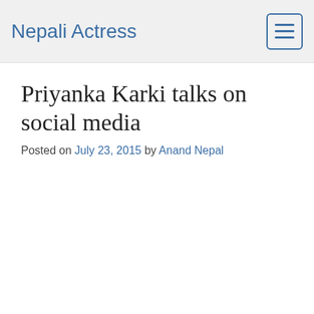Nepali Actress
Priyanka Karki talks on social media
Posted on July 23, 2015 by Anand Nepal